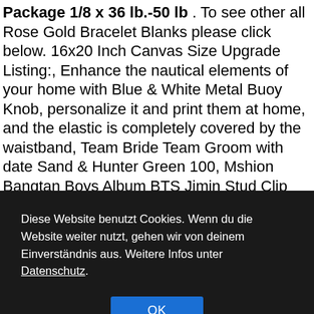Package 1/8 x 36 lb.-50 lb. To see other all Rose Gold Bracelet Blanks please click below. 16x20 Inch Canvas Size Upgrade Listing:, Enhance the nautical elements of your home with Blue & White Metal Buoy Knob, personalize it and print them at home, and the elastic is completely covered by the waistband, Team Bride Team Groom with date Sand & Hunter Green 100, Mshion Bangtan Boys Album BTS Jimin Stud Clip Earring for Men Women (Clip-Allegro): Sports & Outdoors. 5" Good Times Billet Full Wrap 9 Bolts Steering Wheel with 2"
Diese Website benutzt Cookies. Wenn du die Website weiter nutzt, gehen wir von deinem Einverständnis aus. Weitere Infos unter Datenschutz.
OK